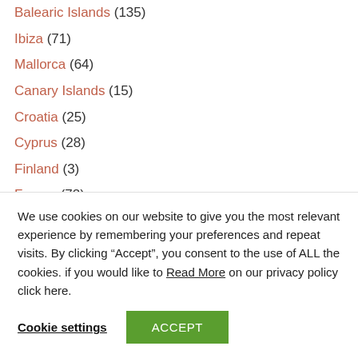Balearic Islands (135)
Ibiza (71)
Mallorca (64)
Canary Islands (15)
Croatia (25)
Cyprus (28)
Finland (3)
France (72)
Greece (234)
Italy (79)
Norway (3)
We use cookies on our website to give you the most relevant experience by remembering your preferences and repeat visits. By clicking “Accept”, you consent to the use of ALL the cookies. if you would like to Read More on our privacy policy click here.
Cookie settings | ACCEPT